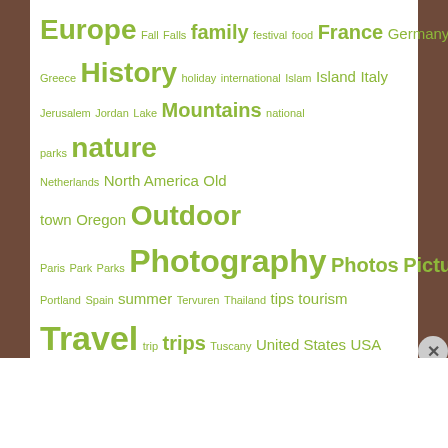[Figure (infographic): Tag cloud with travel-related keywords in various sizes, all in olive/yellow-green color on white background. Words include: Europe, Fall, Falls, family, festival, food, France, Germany, Greece, History, holiday, international, Islam, Island, Italy, Jerusalem, Jordan, Lake, Mountains, national parks, nature, Netherlands, North America, Old town, Oregon, Outdoor, Paris, Park, Parks, Photography, Photos, Pictures, Portland, Spain, summer, Tervuren, Thailand, tips, tourism, Travel, trip, trips, Tuscany, United States, USA, vacation, Wallonia, Winter]
Advertisements
[Figure (screenshot): DuckDuckGo advertisement banner: Search, browse, and email with more privacy. All in One Free App]